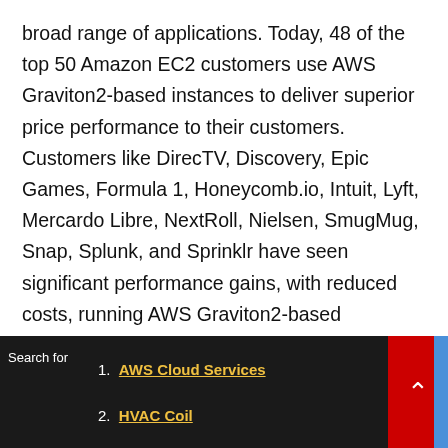broad range of applications. Today, 48 of the top 50 Amazon EC2 customers use AWS Graviton2-based instances to deliver superior price performance to their customers. Customers like DirecTV, Discovery, Epic Games, Formula 1, Honeycomb.io, Intuit, Lyft, Mercardo Libre, NextRoll, Nielsen, SmugMug, Snap, Splunk, and Sprinklr have seen significant performance gains, with reduced costs, running AWS Graviton2-based instances in production. The AWS Graviton-based instance portfolio offers 13 different instances that include general purpose, compute optimized, memory optimized, storage optimized, burstable, and accelerated computing instances, so customers have the deepest and broadest choice of
Search for  1. AWS Cloud Services  2. HVAC Coil